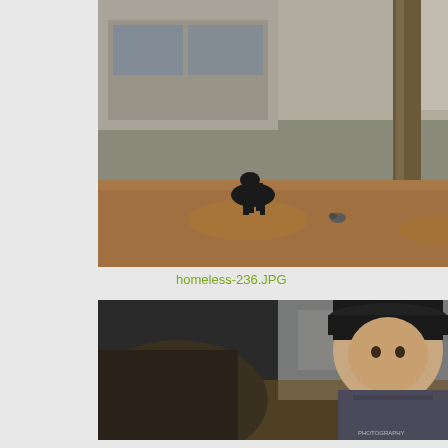[Figure (photo): Street scene with a tree, fallen autumn leaves on brick pavement, a bronze deer sculpture, a person sitting on a bench, and a person standing in the background. Urban setting with storefronts visible.]
homeless-236.JPG
[Figure (photo): Close-up portrait of a smiling woman wearing a black cap and scarf, with another person partially visible in the foreground. Autumn leaves and urban background visible.]
homeless-230.JPG